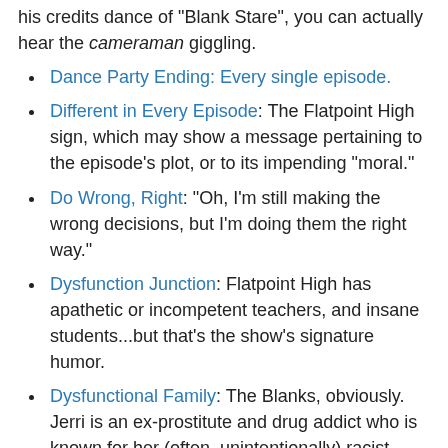his credits dance of "Blank Stare", you can actually hear the cameraman giggling.
Dance Party Ending: Every single episode.
Different in Every Episode: The Flatpoint High sign, which may show a message pertaining to the episode's plot, or to its impending "moral."
Do Wrong, Right: "Oh, I'm still making the wrong decisions, but I'm doing them the right way."
Dysfunction Junction: Flatpoint High has apathetic or incompetent teachers, and insane students...but that's the show's signature humor.
Dysfunctional Family: The Blanks, obviously. Jerri is an ex-prostitute and drug addict who is known for her (often, unintentionally) racist remarks, which she seems to have inherited from her father Guy (who owns Klan robes, once called Principal Blackman "an ugly word", and for his funeral, requested "no darkies" to attend). Her stepmother Sara hates her, favors her son Derrick, is openly racist